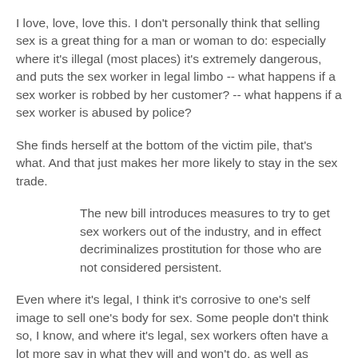I love, love, love this. I don't personally think that selling sex is a great thing for a man or woman to do: especially where it's illegal (most places) it's extremely dangerous, and puts the sex worker in legal limbo -- what happens if a sex worker is robbed by her customer? -- what happens if a sex worker is abused by police?
She finds herself at the bottom of the victim pile, that's what. And that just makes her more likely to stay in the sex trade.
The new bill introduces measures to try to get sex workers out of the industry, and in effect decriminalizes prostitution for those who are not considered persistent.
Even where it's legal, I think it's corrosive to one's self image to sell one's body for sex. Some people don't think so, I know, and where it's legal, sex workers often have a lot more say in what they will and won't do, as well as physical and legal protections. Which is more than you can say for coal miners in WV. Still, who would advocate the sex trade for a child or loved one? No one. Decriminalizing the trade and